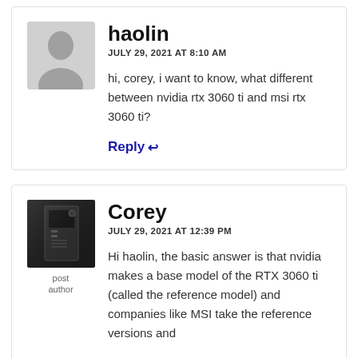[Figure (illustration): Grey silhouette placeholder avatar for user haolin]
haolin
JULY 29, 2021 AT 8:10 AM
hi, corey, i want to know, what different between nvidia rtx 3060 ti and msi rtx 3060 ti?
Reply ↩
[Figure (photo): Black and white photo of a PC tower/computer case, post author avatar]
post author
Corey
JULY 29, 2021 AT 12:39 PM
Hi haolin, the basic answer is that nvidia makes a base model of the RTX 3060 ti (called the reference model) and companies like MSI take the reference versions and